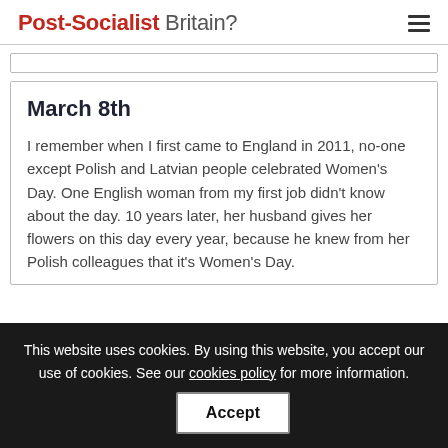Post-Socialist Britain?
March 8th
I remember when I first came to England in 2011, no-one except Polish and Latvian people celebrated Women's Day. One English woman from my first job didn't know about the day. 10 years later, her husband gives her flowers on this day every year, because he knew from her Polish colleagues that it's Women's Day.
This website uses cookies. By using this website, you accept our use of cookies. See our cookies policy for more information.